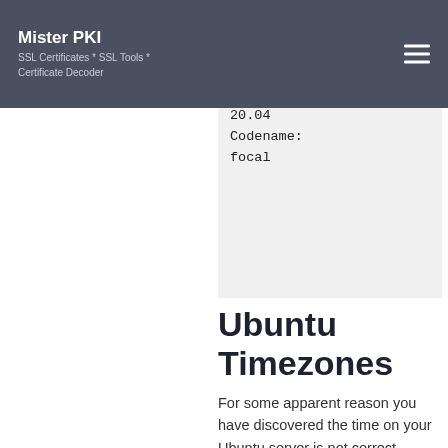Mister PKI
SSL Certificates * SSL Tools * Certificate Decoder
available.
Distributor ID: Ubuntu
Description: Ubuntu 20.04.4 LTS
Release: 20.04
Codename: focal
Ubuntu Timezones
For some apparent reason you have discovered the time on your Ubuntu server is not correct. Either it is entirely incorrect, or just in